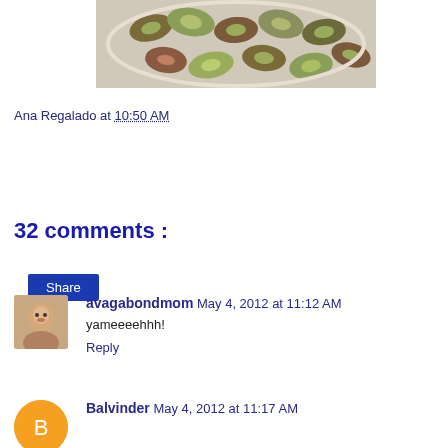[Figure (photo): Photo of pistachios on a white plate, shot from above]
Ana Regalado at 10:50 AM
Share
32 comments :
avagabondmom  May 4, 2012 at 11:12 AM
yameeeehhh!
Reply
Balvinder  May 4, 2012 at 11:17 AM